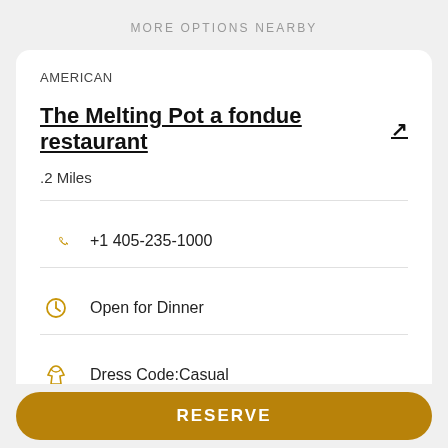MORE OPTIONS NEARBY
AMERICAN
The Melting Pot a fondue restaurant ↗
.2 Miles
+1 405-235-1000
Open for Dinner
Dress Code:Casual
RESERVE